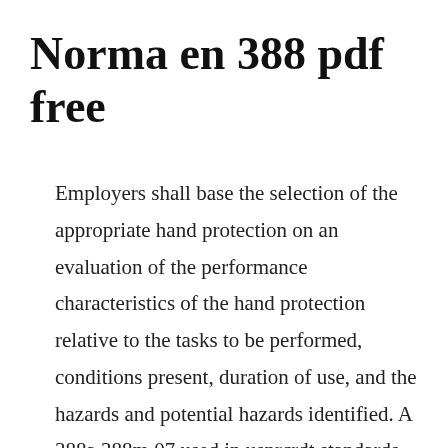Norma en 388 pdf free
Employers shall base the selection of the appropriate hand protection on an evaluation of the performance characteristics of the hand protection relative to the tasks to be performed, conditions present, duration of use, and the hazards and potential hazards identified. A 388a 388m 07 used in usnrcrdt standards standard practice for ultrasonic examination of heavy steel forgings1 this